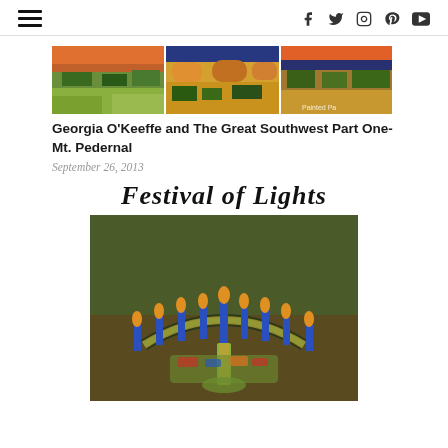Navigation and social icons header
[Figure (photo): Three colorful landscape paintings in the style of Georgia O'Keeffe showing southwestern scenery with layered orange, green, and blue tones. Small watermark 'Painted Pa...' in lower right corner.]
Georgia O'Keeffe and The Great Southwest Part One- Mt. Pedernal
September 26, 2013
Festival of Lights
[Figure (photo): A children's art project depicting a Hanukkah menorah (hanukkiah) with nine blue candles and yellow/orange flames, set against a dark olive/brown background. The menorah base is decorated with colorful painted patterns.]